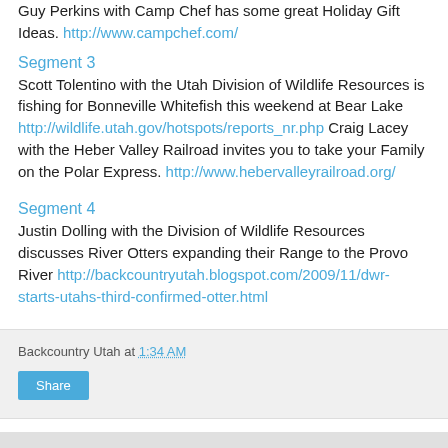Guy Perkins with Camp Chef has some great Holiday Gift Ideas. http://www.campchef.com/
Segment 3
Scott Tolentino with the Utah Division of Wildlife Resources is fishing for Bonneville Whitefish this weekend at Bear Lake http://wildlife.utah.gov/hotspots/reports_nr.php Craig Lacey with the Heber Valley Railroad invites you to take your Family on the Polar Express. http://www.hebervalleyrailroad.org/
Segment 4
Justin Dolling with the Division of Wildlife Resources discusses River Otters expanding their Range to the Provo River http://backcountryutah.blogspot.com/2009/11/dwr-starts-utahs-third-confirmed-otter.html
Backcountry Utah at 1:34 AM
Share